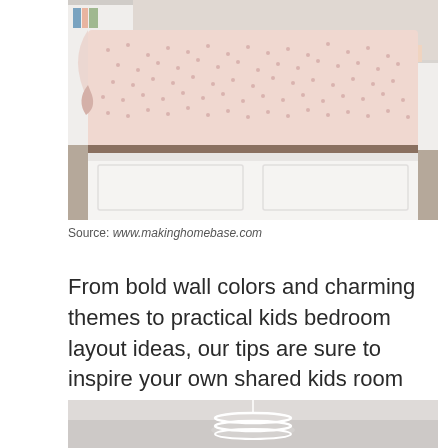[Figure (photo): Close-up of a bed with a pink/white dotted comforter and white bed frame, with wooden flooring visible]
Source: www.makinghomebase.com
From bold wall colors and charming themes to practical kids bedroom layout ideas, our tips are sure to inspire your own shared kids room design. Timber ladders connect the ground floor play area to the elevated sleeping zone.
[Figure (photo): Partial view of a room with a circular pendant light fixture against a light grey ceiling]